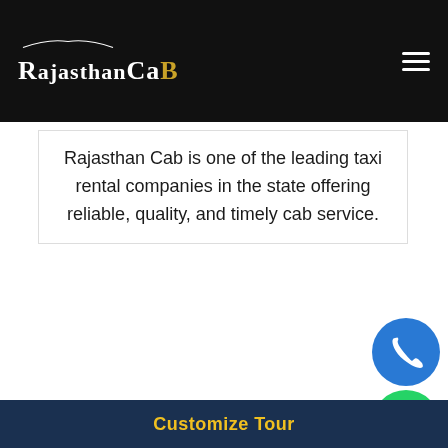RajasthanCaB
Rajasthan Cab is one of the leading taxi rental companies in the state offering reliable, quality, and timely cab service.
Get a Quote !!!
Fields marked with an * are required
Name*
Customize Tour